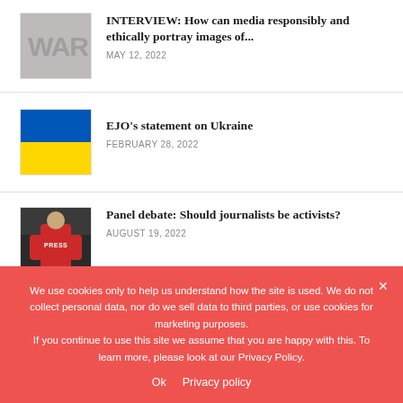[Figure (photo): Grayscale thumbnail with 'WAR' text overlay]
INTERVIEW: How can media responsibly and ethically portray images of...
MAY 12, 2022
[Figure (illustration): Ukrainian flag - blue top half, yellow bottom half]
EJO's statement on Ukraine
FEBRUARY 28, 2022
[Figure (photo): Person wearing a red PRESS vest, viewed from behind]
Panel debate: Should journalists be activists?
AUGUST 19, 2022
We use cookies only to help us understand how the site is used. We do not collect personal data, nor do we sell data to third parties, or use cookies for marketing purposes.
If you continue to use this site we assume that you are happy with this. To learn more, please look at our Privacy Policy.
Ok   Privacy policy